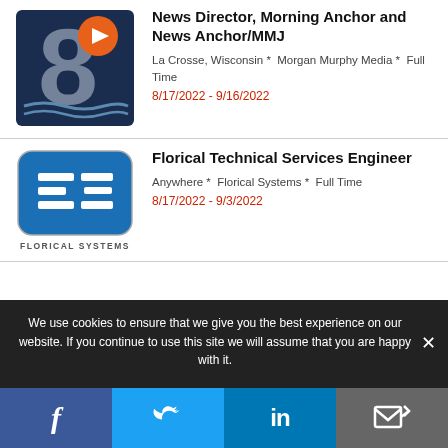[Figure (logo): Channel 8 news logo with orange play button]
News Director, Morning Anchor and News Anchor/MMJ
La Crosse, Wisconsin *  Morgan Murphy Media *  Full Time
8/17/2022 - 9/16/2022
[Figure (logo): Florical Systems logo - blue rounded rectangle with F3 letters, text FLORICAL SYSTEMS below]
Florical Technical Services Engineer
Anywhere *  Florical Systems *  Full Time
8/17/2022 - 9/3/2022
We use cookies to ensure that we give you the best experience on our website. If you continue to use this site we will assume that you are happy with it.